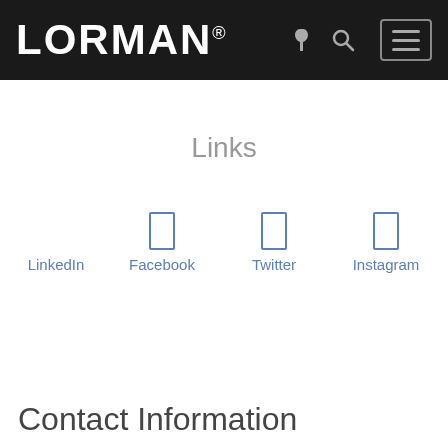LORMAN
Links
LinkedIn
Facebook
Twitter
Instagram
Contact Information